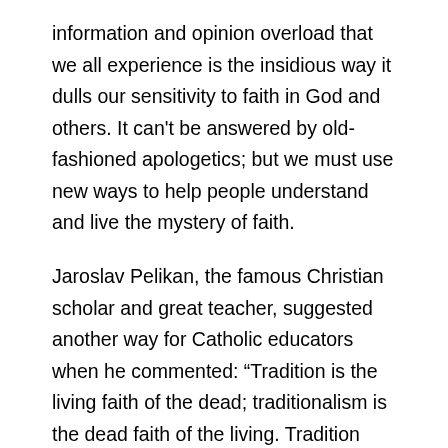information and opinion overload that we all experience is the insidious way it dulls our sensitivity to faith in God and others. It can't be answered by old-fashioned apologetics; but we must use new ways to help people understand and live the mystery of faith.
Jaroslav Pelikan, the famous Christian scholar and great teacher, suggested another way for Catholic educators when he commented: “Tradition is the living faith of the dead; traditionalism is the dead faith of the living. Tradition lives in conversation with the past, while remembering where we are and when we are and that it is we who have to decide.”
We are people of the living tradition. We have a duty not simply to reiterate what was done in the past but to re-engage the living tradition in the way the prophets showed us. In the exile, for instance, without familiar symbols like the